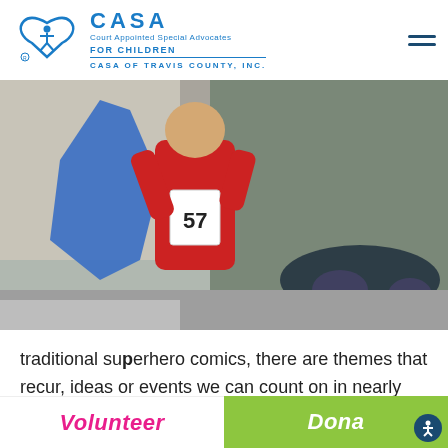[Figure (logo): CASA - Court Appointed Special Advocates for Children, CASA of Travis County, Inc. logo with blue figure icon]
[Figure (photo): Person in red outfit and blue cape wearing race bib number 57, running in a city street, acting as superhero]
traditional superhero comics, there are themes that recur, ideas or events we can count on in nearly every story. The world or city
Volunteer
Dona